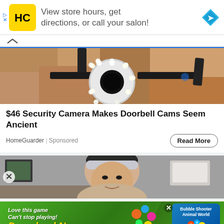[Figure (screenshot): Top advertisement banner with HC (Hair Club) logo on yellow background, text 'View store hours, get directions, or call your salon!' and a blue navigation diamond icon on the right.]
[Figure (photo): Security camera mounted on wall — a wide-angle dome camera with LED ring lights, mounted on a bracket against a textured stone/concrete wall. Blue border at top.]
$46 Security Camera Makes Doorbell Cams Seem Ancient
HomeGuarder | Sponsored
[Figure (photo): Woman with headband smiling over an office desk with monitors and equipment visible behind her.]
[Figure (screenshot): Mobile game advertisement: green background with text 'Love this game Can't stop playing!' and 'Download Now' in gold/yellow. Bubble Shooter Animal World game logo on the right.]